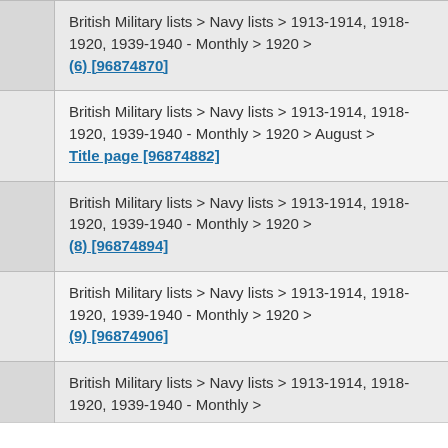British Military lists > Navy lists > 1913-1914, 1918-1920, 1939-1940 - Monthly > 1920 > (6) [96874870]
British Military lists > Navy lists > 1913-1914, 1918-1920, 1939-1940 - Monthly > 1920 > August > Title page [96874882]
British Military lists > Navy lists > 1913-1914, 1918-1920, 1939-1940 - Monthly > 1920 > (8) [96874894]
British Military lists > Navy lists > 1913-1914, 1918-1920, 1939-1940 - Monthly > 1920 > (9) [96874906]
British Military lists > Navy lists > 1913-1914, 1918-1920, 1939-1940 - Monthly >